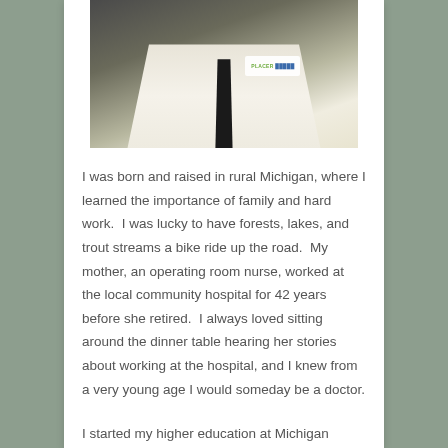[Figure (photo): Doctor in white lab coat with Placer brand logo badge, wearing dark tie, photographed from mid-chest up against neutral background]
I was born and raised in rural Michigan, where I learned the importance of family and hard work.  I was lucky to have forests, lakes, and trout streams a bike ride up the road.  My mother, an operating room nurse, worked at the local community hospital for 42 years before she retired.  I always loved sitting around the dinner table hearing her stories about working at the hospital, and I knew from a very young age I would someday be a doctor.
I started my higher education at Michigan